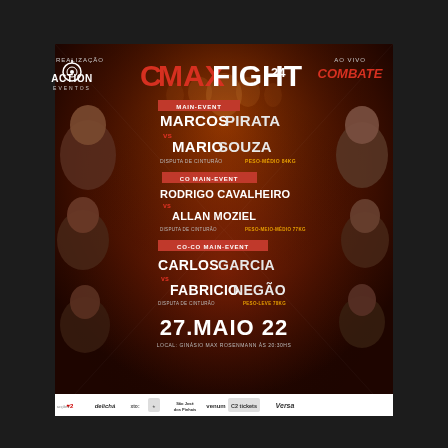[Figure (infographic): MAX FIGHT 24 MMA event promotional poster. Header shows ACTION EVENTOS logo on left, MAX FIGHT 24 in large red/white text in center, AO VIVO COMBATE on right. Three fight matchups listed: MAIN-EVENT: MARCOS PIRATA vs MARIO SOUZA (Disputa de Cinturão Peso-Médio 84kg); CO MAIN-EVENT: RODRIGO CAVALHEIRO vs ALLAN MOZIEL (Disputa de Cinturão Peso-Meio-Médio 77kg); CO-CO MAIN-EVENT: CARLOS GARCIA vs FABRICIO NEGÃO (Disputa de Cinturão Peso-Leve 70kg). Date: 27. MAIO 22. Location: Ginásio Max Rosenmann às 20:30hs. Six fighters shown as photos. Sponsor bar at bottom.]